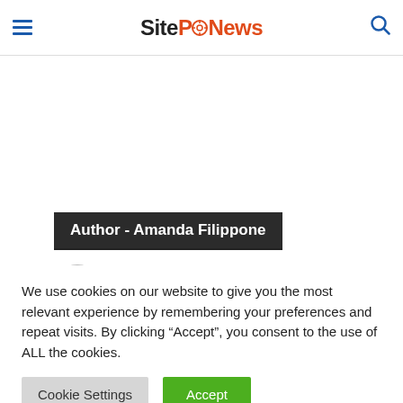SiteProNews
Author - Amanda Filippone
[Figure (illustration): Circular avatar placeholder in gray]
Amanda Filippone is a...
We use cookies on our website to give you the most relevant experience by remembering your preferences and repeat visits. By clicking “Accept”, you consent to the use of ALL the cookies.
Cookie Settings | Accept